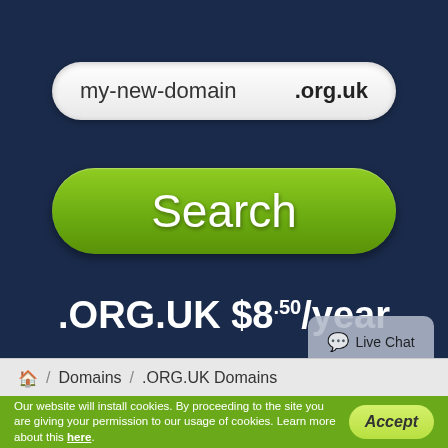[Figure (screenshot): Domain search interface with text input showing 'my-new-domain' and '.org.uk' extension selector on dark navy background]
my-new-domain .org.uk
Search
.ORG.UK $8.50/year
Live Chat
🏠 / Domains / .ORG.UK Domains
Our website will install cookies. By proceeding to the site you are giving your permission to our usage of cookies. Learn more about this here.